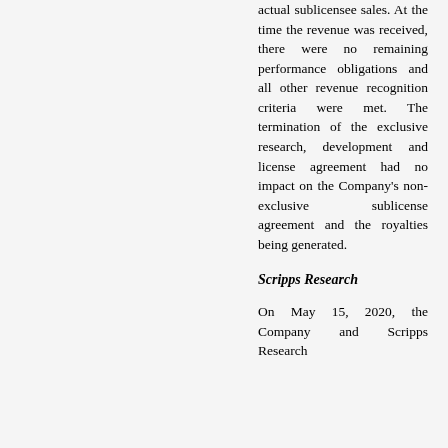actual sublicensee sales. At the time the revenue was received, there were no remaining performance obligations and all other revenue recognition criteria were met. The termination of the exclusive research, development and license agreement had no impact on the Company's non-exclusive sublicense agreement and the royalties being generated.
Scripps Research
On May 15, 2020, the Company and Scripps Research